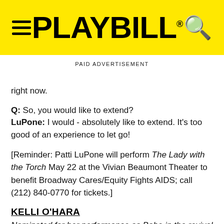PLAYBILL
PAID ADVERTISEMENT
right now.
Q: So, you would like to extend?
LuPone: I would - absolutely like to extend. It's too good of an experience to let go!
[Reminder: Patti LuPone will perform The Lady with the Torch May 22 at the Vivian Beaumont Theater to benefit Broadway Cares/Equity Fights AIDS; call (212) 840-0770 for tickets.]
KELLI O'HARA
Nominated for her performance as Babe in the revival of